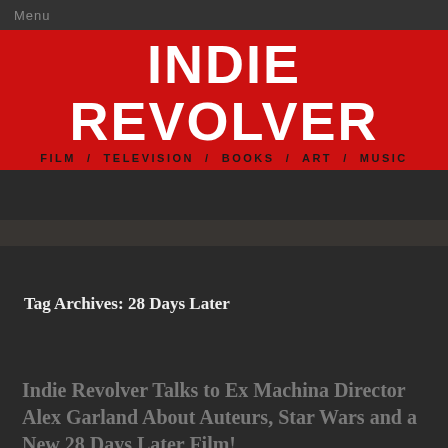Menu
INDIE REVOLVER
FILM / TELEVISION / BOOKS / ART / MUSIC
Tag Archives: 28 Days Later
Indie Revolver Talks to Ex Machina Director Alex Garland About Auteurs, Star Wars and a New 28 Days Later Film!
Posted on  April 17, 2015  Standard  Reply